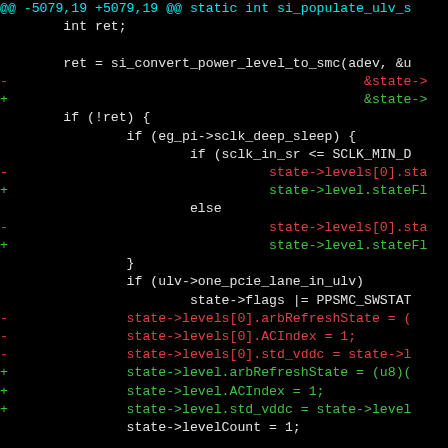[Figure (screenshot): A git diff view of C source code on a black background. Lines in cyan are diff hunk headers, white lines are context, red lines are removals (prefixed with -), and green lines are additions (prefixed with +).]